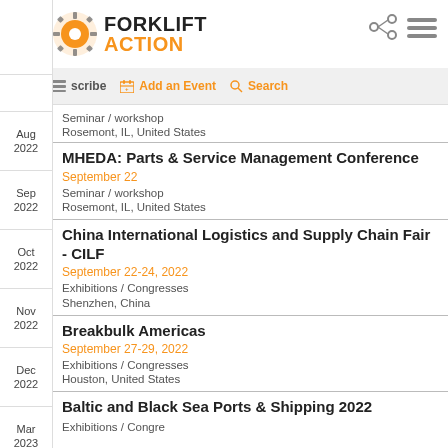Forklift Action - Aug 2022, Sep 2022, Oct 2022, Nov 2022, Dec 2022, Mar 2023, Apr 2023, May 2023
[Figure (logo): Forklift Action logo with gear icon, orange and black text]
Subscribe | Add an Event | Search
Seminar / workshop
Rosemont, IL, United States
MHEDA: Parts & Service Management Conference
September 22
Seminar / workshop
Rosemont, IL, United States
China International Logistics and Supply Chain Fair - CILF
September 22-24, 2022
Exhibitions / Congresses
Shenzhen, China
Breakbulk Americas
September 27-29, 2022
Exhibitions / Congresses
Houston, United States
Baltic and Black Sea Ports & Shipping 2022
Exhibitions / Congresses